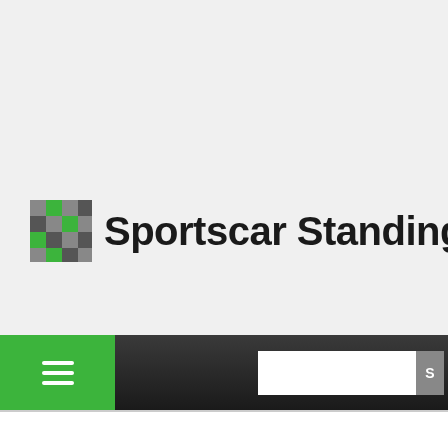[Figure (logo): Sportscar Standings logo with checkered flag icon and site name text]
2008 Pontiac G8 GT